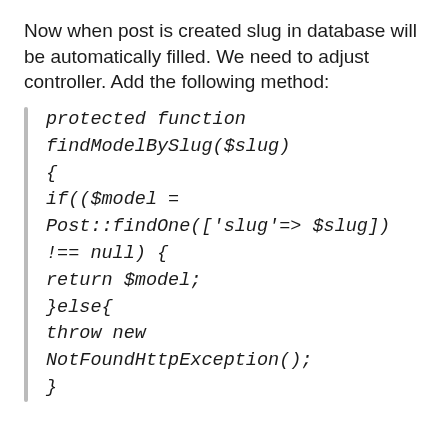Now when post is created slug in database will be automatically filled. We need to adjust controller. Add the following method: